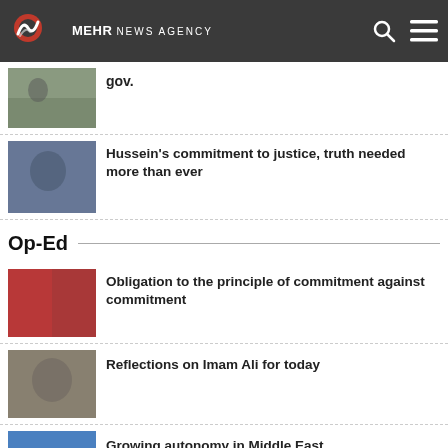MEHR NEWS AGENCY
gov.
Hussein's commitment to justice, truth needed more than ever
Op-Ed
Obligation to the principle of commitment against commitment
Reflections on Imam Ali for today
Growing autonomy in Middle East
The ever-expanding Iranian diplomacy